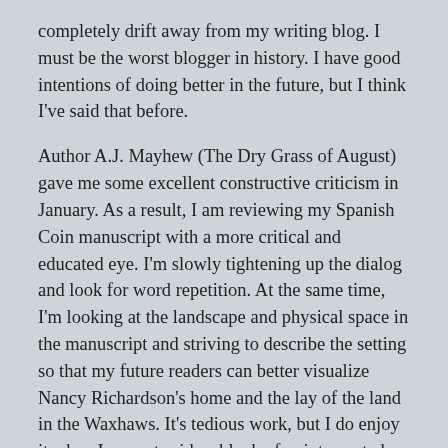completely drift away from my writing blog. I must be the worst blogger in history. I have good intentions of doing better in the future, but I think I've said that before.
Author A.J. Mayhew (The Dry Grass of August) gave me some excellent constructive criticism in January. As a result, I am reviewing my Spanish Coin manuscript with a more critical and educated eye. I'm slowly tightening up the dialog and look for word repetition. At the same time, I'm looking at the landscape and physical space in the manuscript and striving to describe the setting so that my future readers can better visualize Nancy Richardson's home and the lay of the land in the Waxhaws. It's tedious work, but I do enjoy it when I can set aside a block of uninterrupted time.